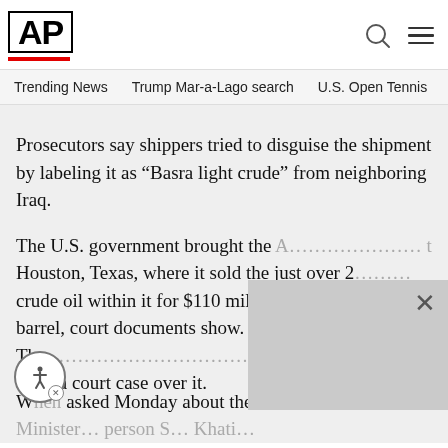AP
Trending News   Trump Mar-a-Lago search   U.S. Open Tennis
Prosecutors say shippers tried to disguise the shipment by labeling it as “Basra light crude” from neighboring Iraq.
The U.S. government brought the A… to Houston, Texas, where it sold the just over 2… crude oil within it for $110 million… barrel, court documents show. The… es…y amid a court case over it.
When asked Monday about the cas… Minister… person S… Khati…